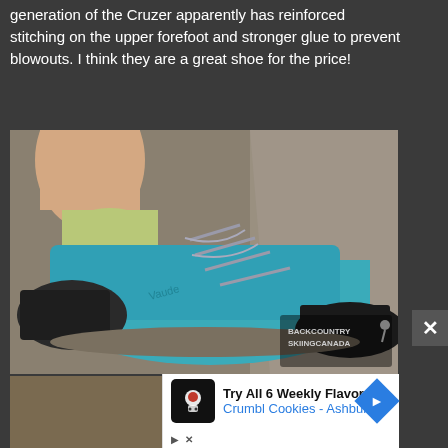generation of the Cruzer apparently has reinforced stitching on the upper forefoot and stronger glue to prevent blowouts. I think they are a great shoe for the price!
[Figure (photo): Close-up photo of a teal/turquoise hiking shoe (Vaude Cruzer) being worn on rocky terrain, with gray laces, black rubber toe cap, and a watermark reading 'Backcountry Skiing Canada' in the lower right corner.]
[Figure (screenshot): Advertisement banner for Crumbl Cookies - Ashburn with text 'Try All 6 Weekly Flavors' and a blue navigation arrow icon, along with a black logo icon and playback/close controls.]